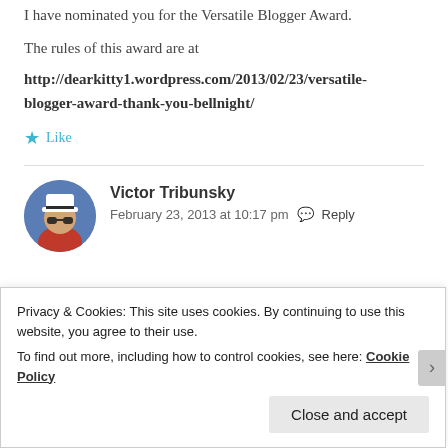I have nominated you for the Versatile Blogger Award.
The rules of this award are at
http://dearkitty1.wordpress.com/2013/02/23/versatile-blogger-award-thank-you-bellnight/
★ Like
[Figure (photo): Avatar photo of Victor Tribunsky wearing a white captain hat and red shirt]
Victor Tribunsky
February 23, 2013 at 10:17 pm  Reply
Privacy & Cookies: This site uses cookies. By continuing to use this website, you agree to their use. To find out more, including how to control cookies, see here: Cookie Policy
Close and accept